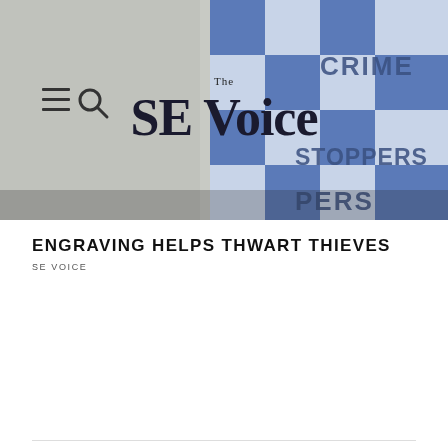[Figure (photo): Header image showing a police crime scene with blue and white checkered tape and a 'Crime Stoppers' sign. The SE Voice newspaper logo is overlaid in the center with hamburger menu and search icons on the left.]
ENGRAVING HELPS THWART THIEVES
SE VOICE
MONARO STOLEN
SE VOICE